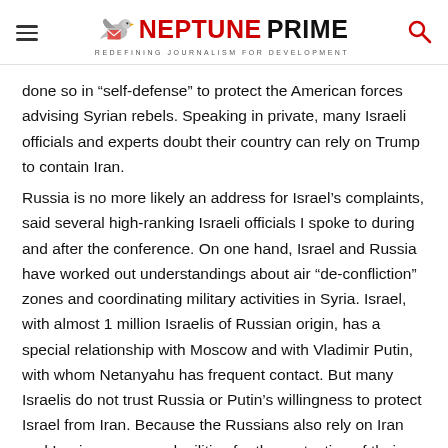NEPTUNE PRIME — REDEFINING JOURNALISM FOR DEVELOPMENT
done so in “self-defense” to protect the American forces advising Syrian rebels. Speaking in private, many Israeli officials and experts doubt their country can rely on Trump to contain Iran.
Russia is no more likely an address for Israel’s complaints, said several high-ranking Israeli officials I spoke to during and after the conference. On one hand, Israel and Russia have worked out understandings about air “de-confliction” zones and coordinating military activities in Syria. Israel, with almost 1 million Israelis of Russian origin, has a special relationship with Moscow and with Vladimir Putin, with whom Netanyahu has frequent contact. But many Israelis do not trust Russia or Putin’s willingness to protect Israel from Iran. Because the Russians also rely on Iran and Iranian-sponsored militias for the protection of their own forces and